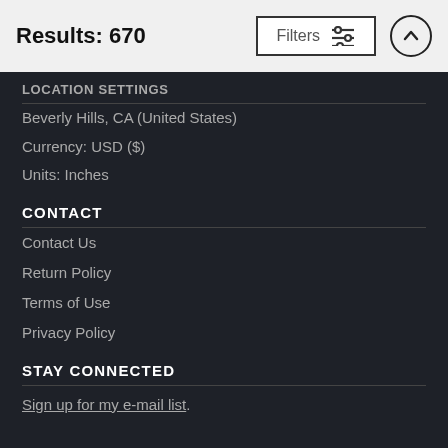Results: 670
LOCATION SETTINGS
Beverly Hills, CA (United States)
Currency: USD ($)
Units: Inches
CONTACT
Contact Us
Return Policy
Terms of Use
Privacy Policy
STAY CONNECTED
Sign up for my e-mail list.
Powered by Fine Art America / Pixels - Original Source